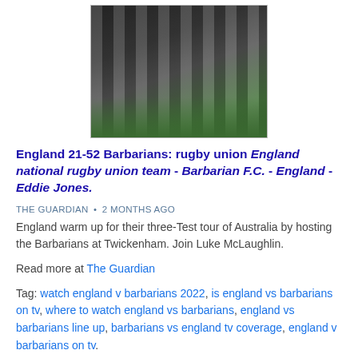[Figure (photo): Rugby players in black and white striped jerseys celebrating on a field, taken at Twickenham]
England 21-52 Barbarians: rugby union England national rugby union team - Barbarian F.C. - England - Eddie Jones.
THE GUARDIAN · 2 MONTHS AGO
England warm up for their three-Test tour of Australia by hosting the Barbarians at Twickenham. Join Luke McLaughlin.
Read more at The Guardian
Tag: watch england v barbarians 2022, is england vs barbarians on tv, where to watch england vs barbarians, england vs barbarians line up, barbarians vs england tv coverage, england v barbarians on tv.